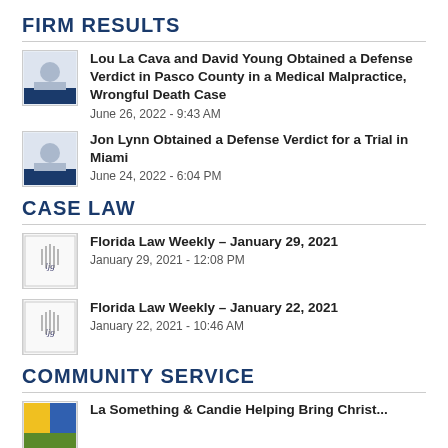FIRM RESULTS
Lou La Cava and David Young Obtained a Defense Verdict in Pasco County in a Medical Malpractice, Wrongful Death Case
June 26, 2022 - 9:43 AM
Jon Lynn Obtained a Defense Verdict for a Trial in Miami
June 24, 2022 - 6:04 PM
CASE LAW
Florida Law Weekly – January 29, 2021
January 29, 2021 - 12:08 PM
Florida Law Weekly – January 22, 2021
January 22, 2021 - 10:46 AM
COMMUNITY SERVICE
La Something & Candie Helping Bring Christ...